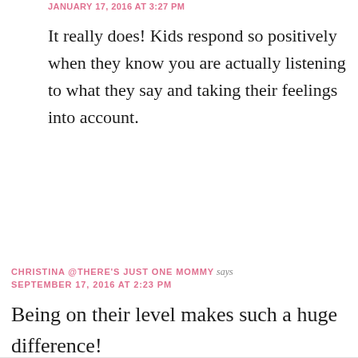JANUARY 17, 2016 AT 3:27 PM
It really does! Kids respond so positively when they know you are actually listening to what they say and taking their feelings into account.
Reply
CHRISTINA @THERE'S JUST ONE MOMMY says
SEPTEMBER 17, 2016 AT 2:23 PM
Being on their level makes such a huge difference!